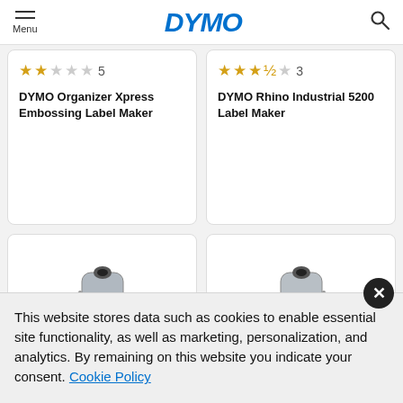Menu | DYMO | Search
★★☆☆☆ 5
DYMO Organizer Xpress Embossing Label Maker
★★★½☆ 3
DYMO Rhino Industrial 5200 Label Maker
[Figure (photo): DYMO label maker device, silver/grey, front view]
[Figure (photo): DYMO label maker device, silver/grey, front view]
This website stores data such as cookies to enable essential site functionality, as well as marketing, personalization, and analytics. By remaining on this website you indicate your consent. Cookie Policy